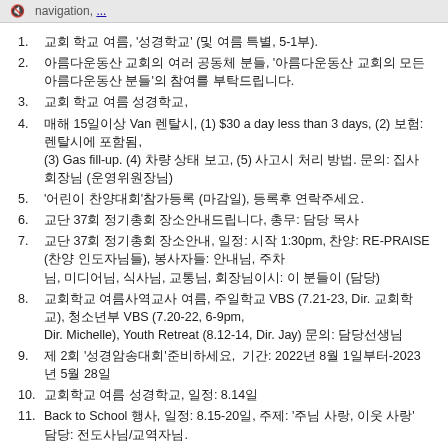navigation...
1. 교회 학교 여름, '성경학교' (및 여름 특별, 5-1부).
2. 아름다운동산 교회의 여러 공동체 분들, '아름다운동산 교회의 모든 아름다운동산 분들'의 참여를 부탁드립니다.
3. 교회 학교 여름 성경학교,
4. 매해 15일이상 Van 렌탈시, (1) $30 a day less than 3 days, (2) 보험: 렌탈시에 포함됨, (3) Gas fill-up. (4) 차량 상태 보고, (5) 사고시 처리 방법. 문의: 집사회장님 (운영위원장님)
5. '어린이 찬양대회'참가등록 (마감일), 등록후 연락주세요.
6. 교단 37회 정기총회 장소안내드립니다, 총무: 담당 목사
7. 교단 37회 정기총회 장소안내, 일정: 시작 1:30pm, 찬양: RE-PRAISE (찬양 인도자님들), 봉사자들: 안내님, 주차님, 미디어님, 식사님, 교통님, 회장님이시: 이 분들이 (담당)
8. 교회학교 여름사역교사 여름, 주일학교 VBS (7.21-23, Dir. 교회학교), 청소년부 VBS (7.20-22, 6-9pm, Dir. Michelle), Youth Retreat (8.12-14, Dir. Jay) 문의: 담당선생님
9. 제 2회 '성경암송대회'준비하세요,  기간: 2022년 8월 1일부터-2023년 5월 28일
10. 교회학교 여름 성경학교, 일정: 8.14일
11. Back to School 행사, 일정: 8.15-20일, 주제: '주님 사랑, 이웃 사랑' 담당: 전도사님/교역자님.
12. 2022 '아름다운동산 여름수련회', 일정: 9.12-15일 (목-일), (담당: 담당목사님들)
13. 교회소식 알림, youtube (www.youtube.com/njdac), facebook (www.facebook.com/njdongsan), Instagram (www.instagram.com/njdongsanchurch) "follow"
14. 설교말씀 청취 (Podcasts 무료로 들을 수있음), 스마트폰 app에서 'Spotify' 또는 'Google Podcast' 을 다운받아 '아름다운동산' 혹은 'dongsan church'로 검색 하세요.
15. 온라인 헌금 방법, Paypal (info@dongsanchurch.org), Venmo (@Dongsanchurch). For more